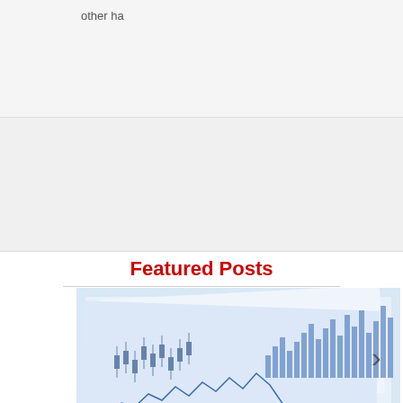other ha
[Figure (illustration): Gray placeholder box representing a content area]
Featured Posts
[Figure (photo): Financial charts and graphs on paper, showing stock market data, bar charts, and line graphs in blue tones. A right-facing chevron arrow is visible on the right side of the image.]
COVID-19 Rebound Hindering Economic